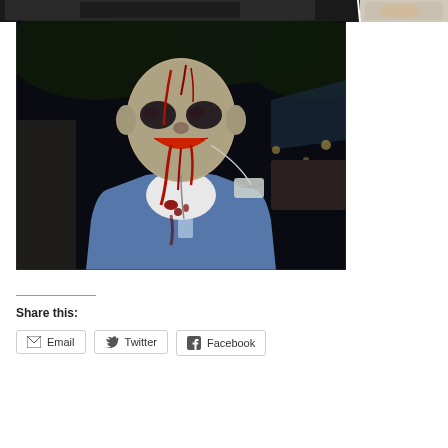[Figure (photo): Partial top strip showing two overlapping photos: one appears to be a person's face/upper body at night, another shows hands holding something.]
[Figure (photo): A person dressed in a zombie Halloween costume wearing blue medical scrubs with zombie face makeup including dark eye sockets, fake blood running down face and chest, and a surgical mask hanging around neck. Photo taken outdoors at night.]
Share this:
Email
Twitter
Facebook